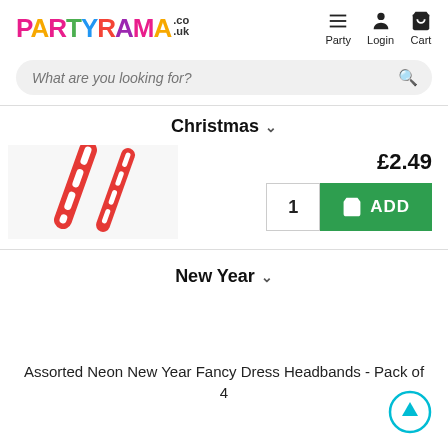[Figure (logo): Partyrama.co.uk logo with colorful letters]
[Figure (screenshot): Navigation icons: Party (hamburger menu), Login (person), Cart (shopping cart)]
What are you looking for?
Christmas ∨
[Figure (photo): Partial product image showing Christmas candy canes or decorations on light background]
£2.49
1  ADD
New Year ∨
Assorted Neon New Year Fancy Dress Headbands - Pack of 4
[Figure (infographic): Circular scroll-to-top arrow button in teal/cyan color]